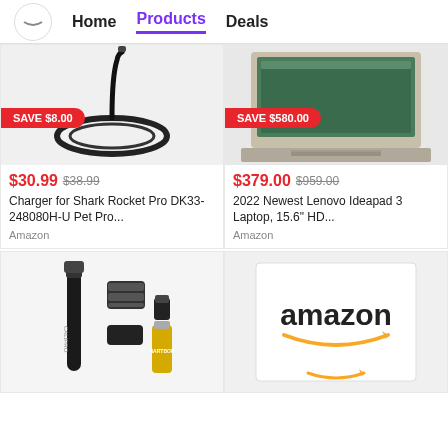Home | Products | Deals
[Figure (photo): Shark Rocket Pro charger cable coiled on circular base]
SAVE $8.00
$30.99  $38.99
Charger for Shark Rocket Pro DK33-248080H-U Pet Pro...
Amazon
[Figure (photo): Lenovo Ideapad 3 laptop open showing keyboard and screen]
SAVE $580.00
$379.00  $959.00
2022 Newest Lenovo Ideapad 3 Laptop, 15.6" HD...
Amazon
[Figure (photo): CALIPRO electric trimmer set with accessories and battery]
[Figure (logo): Amazon logo on white card background with smile arrow]